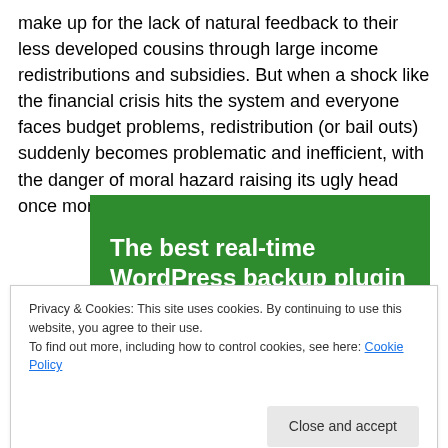make up for the lack of natural feedback to their less developed cousins through large income redistributions and subsidies. But when a shock like the financial crisis hits the system and everyone faces budget problems, redistribution (or bail outs) suddenly becomes problematic and inefficient, with the danger of moral hazard raising its ugly head once more.
[Figure (other): Green advertisement banner for WordPress backup plugin with bold white text reading 'The best real-time WordPress backup plugin']
Privacy & Cookies: This site uses cookies. By continuing to use this website, you agree to their use.
To find out more, including how to control cookies, see here: Cookie Policy